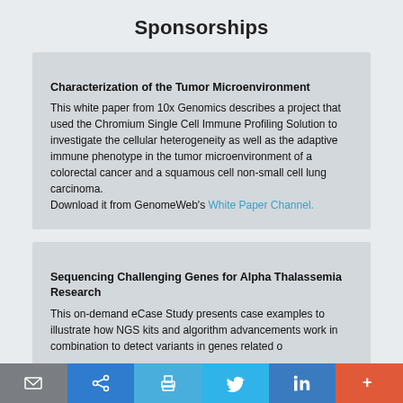Sponsorships
Characterization of the Tumor Microenvironment
This white paper from 10x Genomics describes a project that used the Chromium Single Cell Immune Profiling Solution to investigate the cellular heterogeneity as well as the adaptive immune phenotype in the tumor microenvironment of a colorectal cancer and a squamous cell non-small cell lung carcinoma.
Download it from GenomeWeb's White Paper Channel.
Sequencing Challenging Genes for Alpha Thalassemia Research
This on-demand eCase Study presents case examples to illustrate how NGS kits and algorithm advancements work in combination to detect variants in genes related o